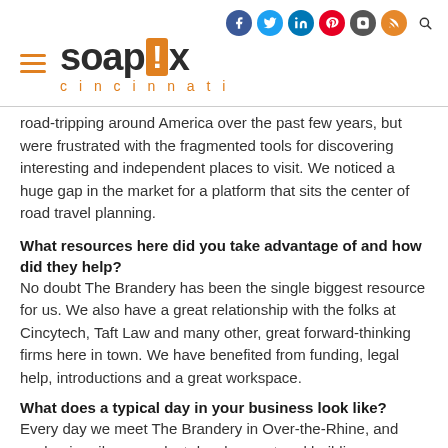soapbox cincinnati — website header with social icons and hamburger menu
road-tripping around America over the past few years, but were frustrated with the fragmented tools for discovering interesting and independent places to visit. We noticed a huge gap in the market for a platform that sits the center of road travel planning.
What resources here did you take advantage of and how did they help?
No doubt The Brandery has been the single biggest resource for us. We also have a great relationship with the folks at Cincytech, Taft Law and many other, great forward-thinking firms here in town. We have benefited from funding, legal help, introductions and a great workspace.
What does a typical day in your business look like?
Every day we meet The Brandery in Over-the-Rhine, and work primarily on product development and building relationships